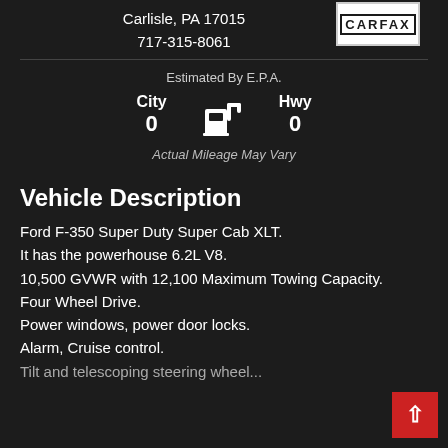Carlisle, PA 17015
717-315-8061
[Figure (logo): CARFAX logo in white box with black border]
Estimated By E.P.A.
City 0   Hwy 0
Actual Mileage May Vary
Vehicle Description
Ford F-350 Super Duty Super Cab XLT.
It has the powerhouse 6.2L V8.
10,500 GVWR with 12,100 Maximum Towing Capacity.
Four Wheel Drive.
Power windows, power door locks.
Alarm, Cruise control.
Tilt and telescoping steering wheel.